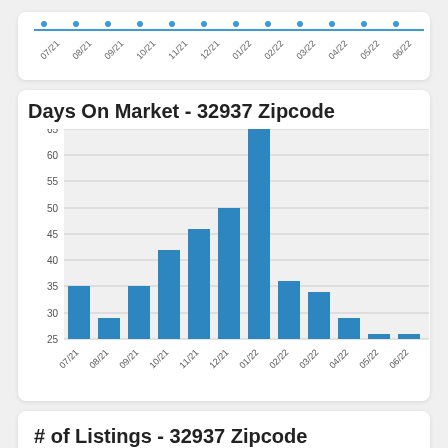[Figure (bar-chart): Days On Market - 32937 Zipcode]
# of Listings - 32937 Zipcode